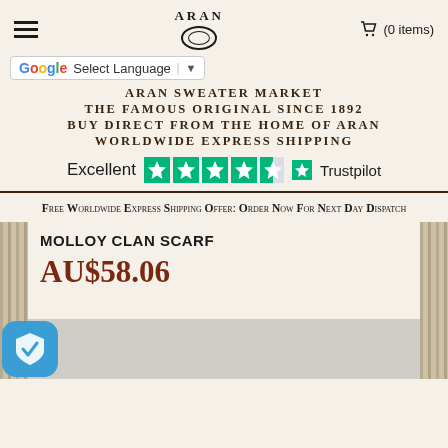ARAN (0 items)
Select Language
ARAN SWEATER MARKET
THE FAMOUS ORIGINAL SINCE 1892
BUY DIRECT FROM THE HOME OF ARAN
WORLDWIDE EXPRESS SHIPPING
[Figure (logo): Trustpilot rating showing Excellent with 4.5 stars]
Free Worldwide Express Shipping Offer: Order Now For Next Day Dispatch
MOLLOY CLAN SCARF
AU$58.06
[Figure (photo): Bottom portion of product page with grey image area and shield badge icon]